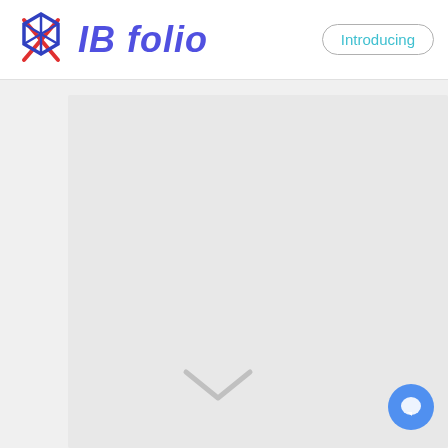[Figure (logo): IB Folio logo with geometric star/arrow icon in red and blue, beside the text 'IB folio' in bold italic purple/blue, and an 'Introducing' pill button on the right]
[Figure (screenshot): Main content area showing a large light gray panel with a down-chevron arrow near the bottom center, and a blue circular chat button in the bottom right corner]